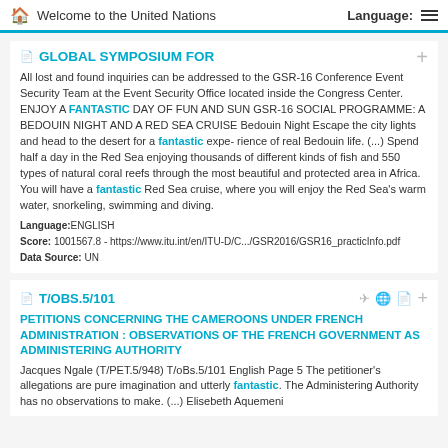Welcome to the United Nations   Language:
GLOBAL SYMPOSIUM FOR
All lost and found inquiries can be addressed to the GSR-16 Conference Event Security Team at the Event Security Office located inside the Congress Center. ENJOY A FANTASTIC DAY OF FUN AND SUN GSR-16 SOCIAL PROGRAMME: A BEDOUIN NIGHT AND A RED SEA CRUISE Bedouin Night Escape the city lights and head to the desert for a fantastic expe- rience of real Bedouin life. (...) Spend half a day in the Red Sea enjoying thousands of different kinds of fish and 550 types of natural coral reefs through the most beautiful and protected area in Africa. You will have a fantastic Red Sea cruise, where you will enjoy the Red Sea's warm water, snorkeling, swimming and diving.
Language:ENGLISH
Score: 1001567.8 - https://www.itu.int/en/ITU-D/C.../GSR2016/GSR16_practicInfo.pdf
Data Source: UN
T/OBS.5/101
PETITIONS CONCERNING THE CAMEROONS UNDER FRENCH ADMINISTRATION : OBSERVATIONS OF THE FRENCH GOVERNMENT AS ADMINISTERING AUTHORITY
Jacques Ngale (T/PET.5/948) T/oBs.5/101 English Page 5 The petitioner's allegations are pure imagination and utterly fantastic. The Administering Authority has no observations to make. (...) Elisebeth Aquemeni